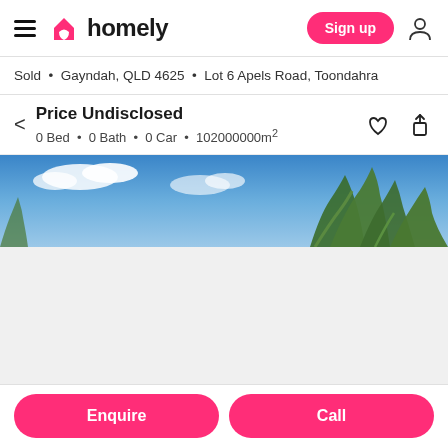homely — Sign up
Sold • Gayndah, QLD 4625 • Lot 6 Apels Road, Toondahra
Price Undisclosed
0 Bed • 0 Bath • 0 Car • 102000000m²
[Figure (photo): Outdoor landscape photo showing a blue sky with clouds and tree canopy (eucalyptus/gum trees) in the foreground]
Enquire   Call